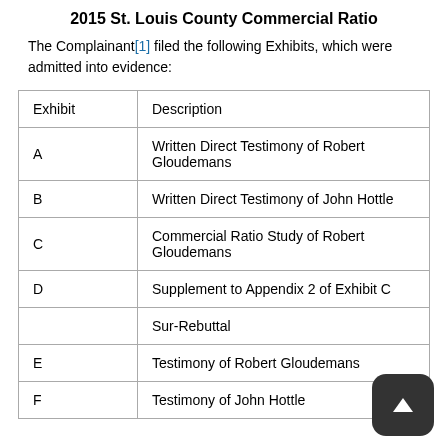2015 St. Louis County Commercial Ratio
The Complainant[1] filed the following Exhibits, which were admitted into evidence:
| Exhibit | Description |
| --- | --- |
| A | Written Direct Testimony of Robert Gloudemans |
| B | Written Direct Testimony of John Hottle |
| C | Commercial Ratio Study of Robert Gloudemans |
| D | Supplement to Appendix 2 of Exhibit C |
|  | Sur-Rebuttal |
| E | Testimony of Robert Gloudemans |
| F | Testimony of John Hottle |